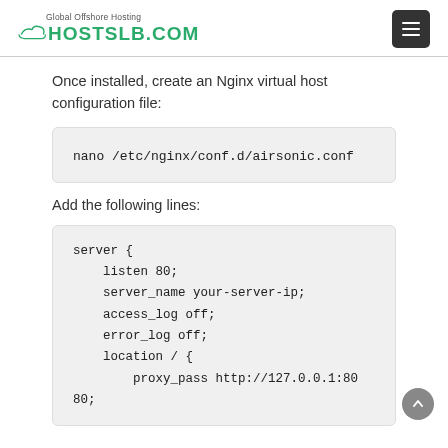HOSTSLB.COM — Global Offshore Hosting
Once installed, create an Nginx virtual host configuration file:
nano /etc/nginx/conf.d/airsonic.conf
Add the following lines:
server {
    listen 80;
    server_name your-server-ip;
    access_log off;
    error_log off;
    location / {
        proxy_pass http://127.0.0.1:80
80;